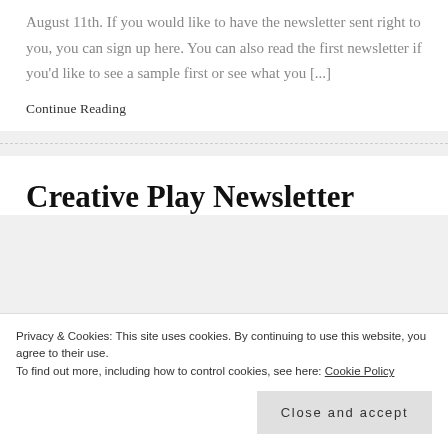August 11th. If you would like to have the newsletter sent right to you, you can sign up here. You can also read the first newsletter if you'd like to see a sample first or see what you [...]
Continue Reading
Creative Play Newsletter
Privacy & Cookies: This site uses cookies. By continuing to use this website, you agree to their use. To find out more, including how to control cookies, see here: Cookie Policy
Close and accept
This is the first edition of my monthly "Creative Play